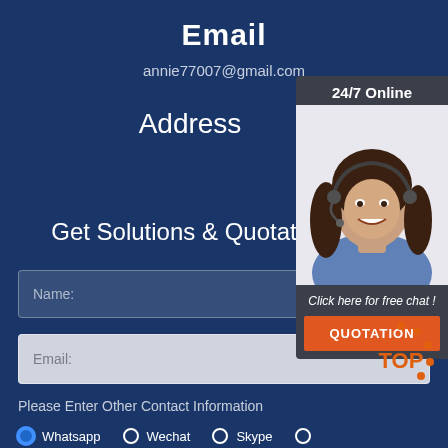Email
annie77007@gmail.com
Address
Get Solutions & Quotation
Name:
Email:
Please Enter Other Contact Information
Whatsapp
Wechat
Skype
[Figure (photo): Customer service representative (woman with headset smiling) with '24/7 Online' label, 'Click here for free chat!' text, and orange QUOTATION button]
[Figure (logo): TOP logo with orange dots circle surrounding 'TOP' text in orange on dark blue background]